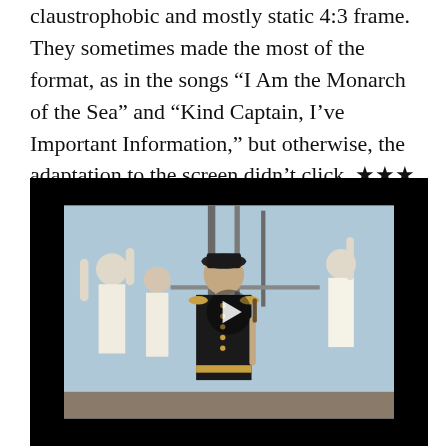claustrophobic and mostly static 4:3 frame. They sometimes made the most of the format, as in the songs “I Am the Monarch of the Sea” and “Kind Captain, I’ve Important Information,” but otherwise, the adaptation to the screen didn’t click. ★★★
[Figure (photo): A video still showing a man in a black naval uniform with gold buttons, holding a baton or sword, with other people in white outfits in the background on what appears to be a ship deck. A white play button triangle is overlaid in the center of the video.]